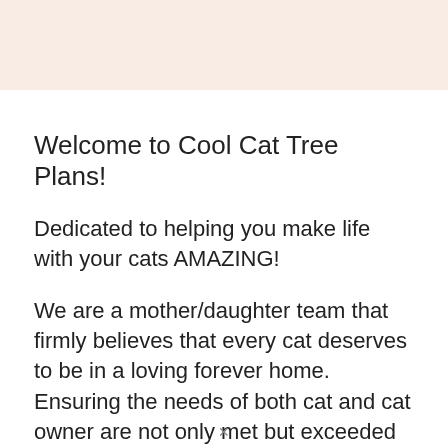[Figure (other): Decorative pinkish-beige banner header strip]
Welcome to Cool Cat Tree Plans!
Dedicated to helping you make life with your cats AMAZING!
We are a mother/daughter team that firmly believes that every cat deserves to be in a loving forever home. Ensuring the needs of both cat and cat owner are not only met but exceeded moves us closer to that reality.